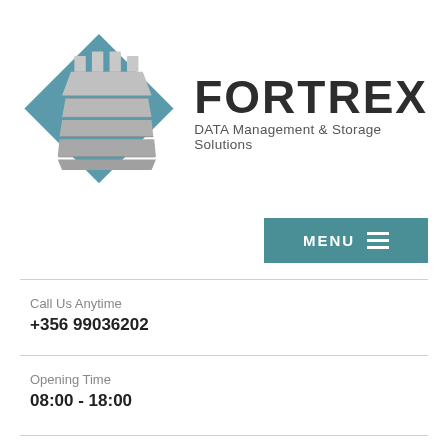[Figure (logo): Fortrex logo: a blue diamond shape with a grey castle/rook icon inside, next to bold text 'FORTREX' and subtitle 'DATA Management & Storage Solutions']
[Figure (screenshot): Teal/dark cyan MENU button with hamburger icon (three horizontal lines)]
Call Us Anytime
+356 99036202
Opening Time
08:00 - 18:00